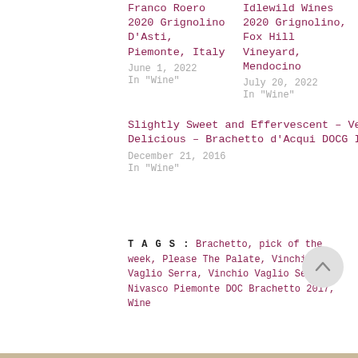Franco Roero 2020 Grignolino D'Asti, Piemonte, Italy
June 1, 2022
In "Wine"
Idlewild Wines 2020 Grignolino, Fox Hill Vineyard, Mendocino
July 20, 2022
In "Wine"
Slightly Sweet and Effervescent – Very Delicious – Brachetto d'Acqui DOCG Italy
December 21, 2016
In "Wine"
TAGS: Brachetto, pick of the week, Please The Palate, Vinchio Vaglio Serra, Vinchio Vaglio Serra Nivasco Piemonte DOC Brachetto 2017, Wine